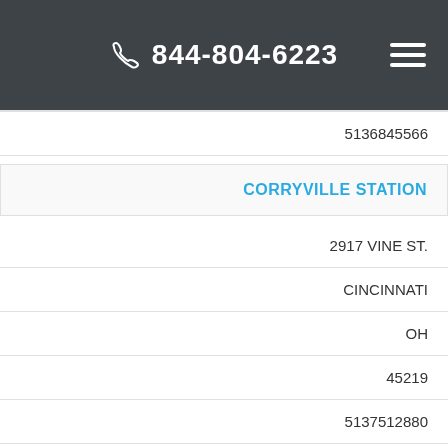844-804-6223
5136845566
CORRYVILLE STATION
2917 VINE ST.
CINCINNATI
OH
45219
5137512880
DON MARRS USPS
3644 WERK RD.